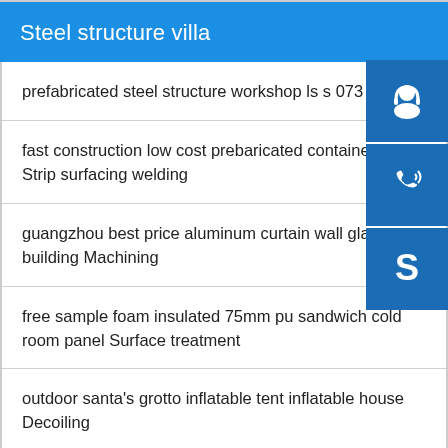Steel structure villa
prefabricated steel structure workshop ls s 073 boring
fast construction low cost prebaricated container house Strip surfacing welding
guangzhou best price aluminum curtain wall gla building Machining
free sample foam insulated 75mm pu sandwich cold room panel Surface treatment
outdoor santa's grotto inflatable tent inflatable house Decoiling